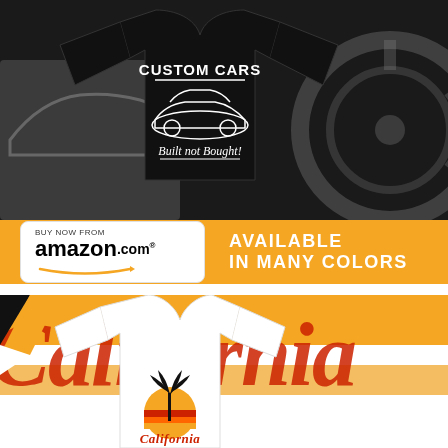[Figure (photo): Black t-shirt with 'Custom Cars Built not Bought!' graphic featuring a classic car illustration, displayed against a grey background with large car wheel graphic]
[Figure (infographic): Orange banner with Amazon.com buy now badge and text 'AVAILABLE IN MANY COLORS']
[Figure (photo): White t-shirt with California sunset and palm tree graphic, displayed against a bold red/orange/black California script lettering background]